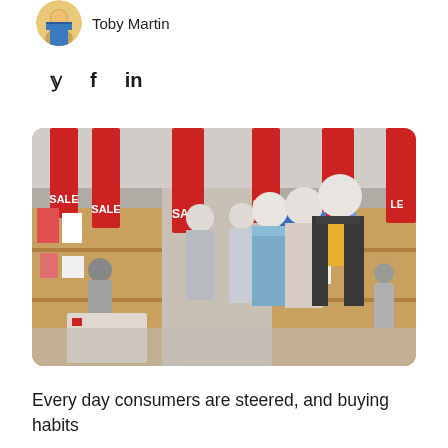Toby Martin
[Figure (other): Social media share icons: Twitter bird, Facebook f, LinkedIn in]
[Figure (photo): Clothing store interior with mannequins dressed in various outfits and multiple red SALE banners hanging from the ceiling. Shoppers visible in the background.]
Every day consumers are steered, and buying habits